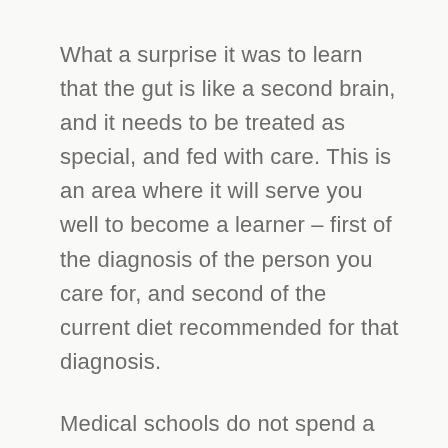What a surprise it was to learn that the gut is like a second brain, and it needs to be treated as special, and fed with care. This is an area where it will serve you well to become a learner – first of the diagnosis of the person you care for, and second of the current diet recommended for that diagnosis.
Medical schools do not spend a lot of time teaching about the role of diet